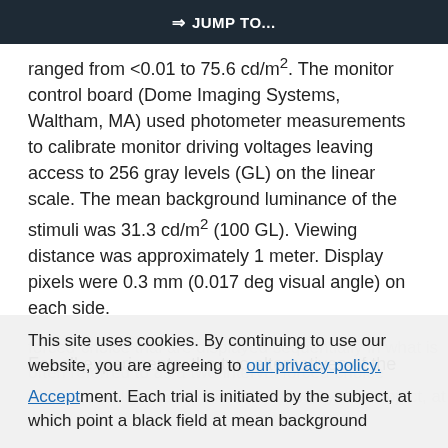⇒ JUMP TO...
ranged from <0.01 to 75.6 cd/m². The monitor control board (Dome Imaging Systems, Waltham, MA) used photometer measurements to calibrate monitor driving voltages leaving access to 256 gray levels (GL) on the linear scale. The mean background luminance of the stimuli was 31.3 cd/m² (100 GL). Viewing distance was approximately 1 meter. Display pixels were 0.3 mm (0.017 deg visual angle) on each side.
For all experiments, the two alternatives of the forced-choice trial are displayed sequentially in what is often referred to as a two-interval forced-choice (2IFC) paradigm. Each trial is initiated by the subject, at which point a blank field at mean background...
This site uses cookies. By continuing to use our website, you are agreeing to our privacy policy. Accept